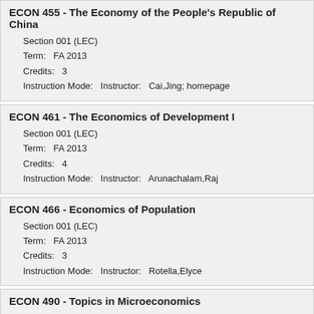ECON 455 - The Economy of the People's Republic of China
Section 001 (LEC)
Term:   FA 2013
Credits:   3
Instruction Mode:   Instructor:   Cai,Jing; homepage
ECON 461 - The Economics of Development I
Section 001 (LEC)
Term:   FA 2013
Credits:   4
Instruction Mode:   Instructor:   Arunachalam,Raj
ECON 466 - Economics of Population
Section 001 (LEC)
Term:   FA 2013
Credits:   3
Instruction Mode:   Instructor:   Rotella,Elyce
ECON 490 - Topics in Microeconomics
Section 001 (LEC)
Regulation of Intellectual Property
Term:   FA 2013
Credits:   3